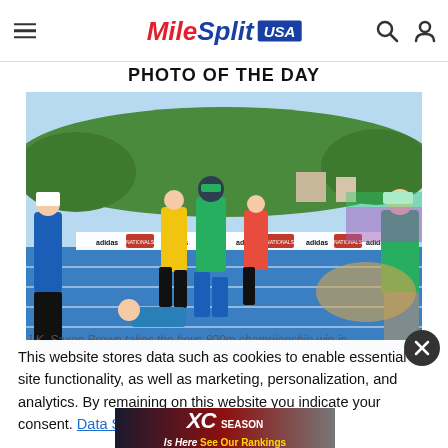MileSplit USA — navigation header
PHOTO OF THE DAY
[Figure (photo): Track and field photo: runners crossing the finish line at a track meet. A runner in a green jersey crosses the finish line tape. An adidas/New Balance sponsorship banner is visible at the finish. One runner has fallen on the track. Officials stand on the sides.]
J.K. Saxon Brown takes the boys 800m championship win in ...
This website stores data such as cookies to enable essential site functionality, as well as marketing, personalization, and analytics. By remaining on this website you indicate your consent. Data Storage Policy